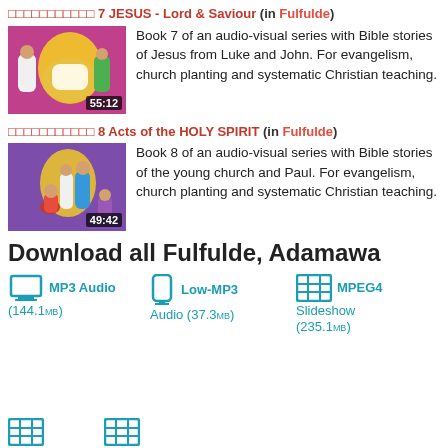▯▯▯▯▯▯▯▯▯▯▯ 7 JESUS - Lord & Saviour (in Fulfulde)
[Figure (illustration): Thumbnail image of Bible story scene from Book 7, pink/purple background, with figures, duration 55:12]
Book 7 of an audio-visual series with Bible stories of Jesus from Luke and John. For evangelism, church planting and systematic Christian teaching.
▯▯▯▯▯▯▯▯▯▯▯ 8 Acts of the HOLY SPIRIT (in Fulfulde)
[Figure (illustration): Thumbnail image of Bible story scene from Book 8, purple background, with figures, duration 49:42]
Book 8 of an audio-visual series with Bible stories of the young church and Paul. For evangelism, church planting and systematic Christian teaching.
Download all Fulfulde, Adamawa
MP3 Audio (144.1MB)
Low-MP3 Audio (37.3MB)
MPEG4 Slideshow (235.1MB)